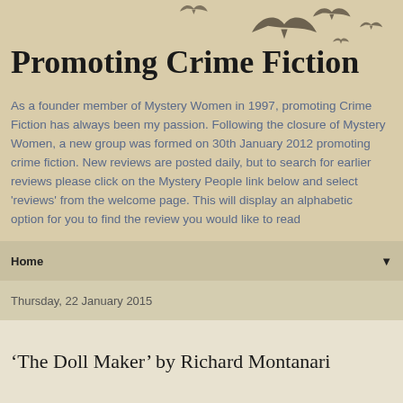Promoting Crime Fiction
As a founder member of Mystery Women in 1997, promoting Crime Fiction has always been my passion. Following the closure of Mystery Women, a new group was formed on 30th January 2012 promoting crime fiction. New reviews are posted daily, but to search for earlier reviews please click on the Mystery People link below and select 'reviews' from the welcome page. This will display an alphabetic option for you to find the review you would like to read
Home ▼
Thursday, 22 January 2015
‘The Doll Maker’ by Richard Montanari